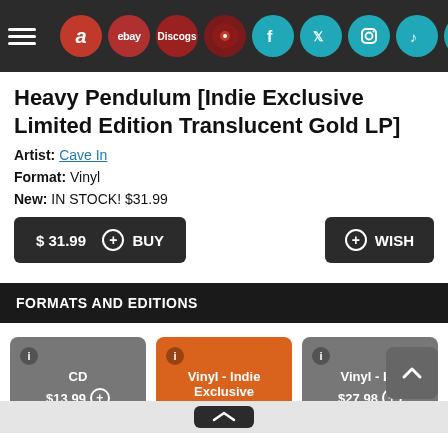Navigation bar with hamburger menu and social/marketplace icons
Heavy Pendulum [Indie Exclusive Limited Edition Translucent Gold LP]
Artist: Cave In
Format: Vinyl
New: IN STOCK! $31.99
$ 31.99 + BUY   + WISH
FORMATS AND EDITIONS
CD $13.99 +
Vinyl - Indie Exclusive $31.99 +
Vinyl - LP $27.98 +